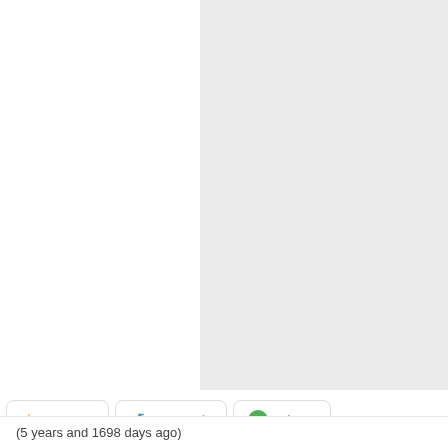[Figure (screenshot): Left white panel and right gray panel side by side, likely a before/after or SBS image comparison area]
Favs: 0
SBS: n/a
Hi-res
(5 years and 1698 days ago)